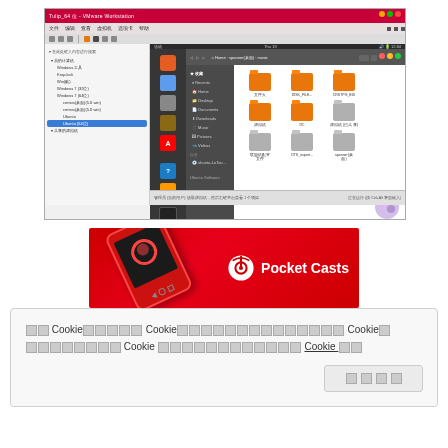[Figure (screenshot): VMware Workstation window showing a Ubuntu Linux virtual machine with file manager open, showing orange and gray folders on the desktop]
[Figure (screenshot): Pocket Casts app promotional banner with red background showing a red smartphone device and the Pocket Casts logo with text]
我们 Cookie使用说明 Cookie您可以控制和管理 Cookie的 您可以自行修改 Cookie 设置或了解更多信息 Cookie 政策